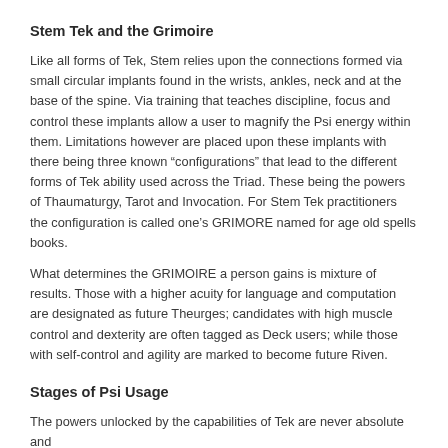Stem Tek and the Grimoire
Like all forms of Tek, Stem relies upon the connections formed via small circular implants found in the wrists, ankles, neck and at the base of the spine. Via training that teaches discipline, focus and control these implants allow a user to magnify the Psi energy within them. Limitations however are placed upon these implants with there being three known “configurations” that lead to the different forms of Tek ability used across the Triad. These being the powers of Thaumaturgy, Tarot and Invocation. For Stem Tek practitioners the configuration is called one’s GRIMORE named for age old spells books.
What determines the GRIMOIRE a person gains is mixture of results. Those with a higher acuity for language and computation are designated as future Theurges; candidates with high muscle control and dexterity are often tagged as Deck users; while those with self-control and agility are marked to become future Riven.
Stages of Psi Usage
The powers unlocked by the capabilities of Tek are never absolute and